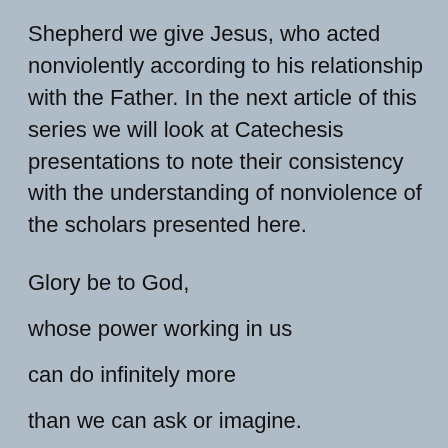Shepherd we give Jesus, who acted nonviolently according to his relationship with the Father. In the next article of this series we will look at Catechesis presentations to note their consistency with the understanding of nonviolence of the scholars presented here.
Glory be to God,
whose power working in us
can do infinitely more
than we can ask or imagine.
Eph 3:20